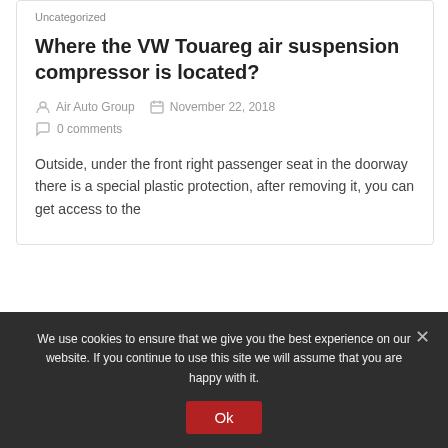Uncategorized
Where the VW Touareg air suspension compressor is located?
Air Auto Group   November 22, 2018   0 comments
Outside, under the front right passenger seat in the doorway there is a special plastic protection, after removing it, you can get access to the
< 1 2 3 : 5 >
We use cookies to ensure that we give you the best experience on our website. If you continue to use this site we will assume that you are happy with it.
Ok